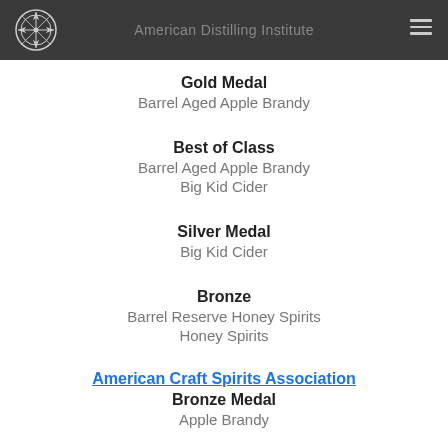American Distilling Institute
Gold Medal
Barrel Aged Apple Brandy
Best of Class
Barrel Aged Apple Brandy
Big Kid Cider
Silver Medal
Big Kid Cider
Bronze
Barrel Reserve Honey Spirits
Honey Spirits
American Craft Spirits Association
Bronze Medal
Apple Brandy